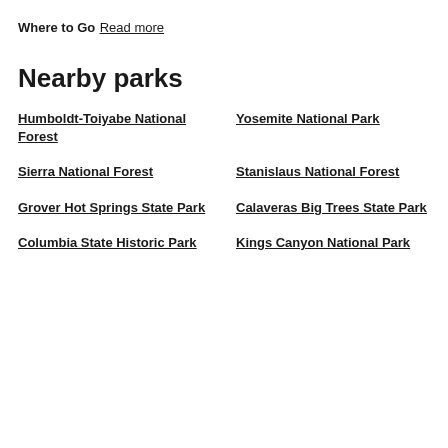Where to Go
Read more
Nearby parks
Humboldt-Toiyabe National Forest
Yosemite National Park
Sierra National Forest
Stanislaus National Forest
Grover Hot Springs State Park
Calaveras Big Trees State Park
Columbia State Historic Park
Kings Canyon National Park